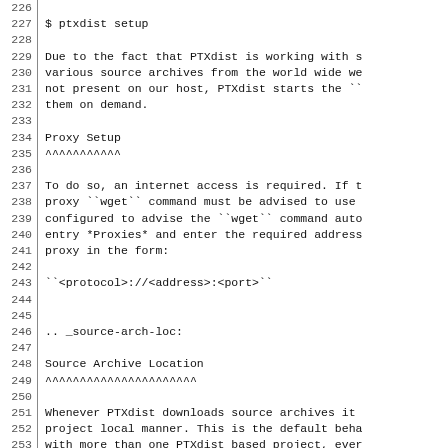226
227    $ ptxdist setup
228
229 Due to the fact that PTXdist is working with s
230 various source archives from the world wide we
231 not present on our host, PTXdist starts the ``
232 them on demand.
233
234 Proxy Setup
235 ^^^^^^^^^^^
236
237 To do so, an internet access is required. If t
238 proxy ``wget`` command must be advised to use
239 configured to advise the ``wget`` command auto
240 entry *Proxies* and enter the required address
241 proxy in the form:
242
243 ``<protocol>://<address>:<port>``
244
245
246 .. _source-arch-loc:
247
248 Source Archive Location
249 ^^^^^^^^^^^^^^^^^^^^^^
250
251 Whenever PTXdist downloads source archives it
252 project local manner. This is the default beha
253 with more than one PTXdist based project, ever
254 its own required archives in this case. To sha
255 between all projects, PTXdist can be configure